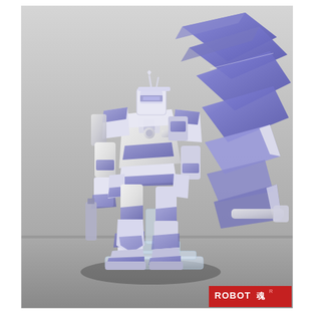[Figure (photo): A Gundam robot action figure (Hi-Nu Gundam or similar) displayed on a clear plastic stand. The figure is predominantly white and purple/violet colored with metallic silver accents. It features large wing-like binders extending from its back to the right side. The figure is posed in a standing position facing slightly left. In the bottom right corner, a red 'ROBOT魂' (Robot Tamashii) product label is partially visible. The background is a neutral gray surface.]